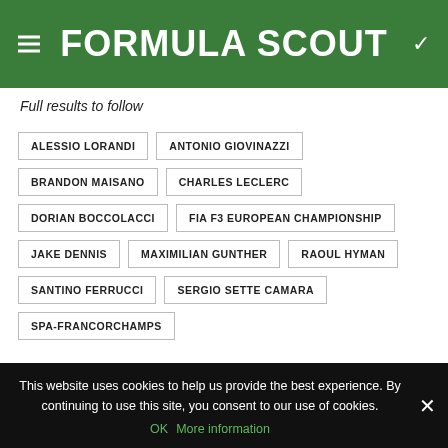FORMULA SCOUT
Full results to follow
ALESSIO LORANDI
ANTONIO GIOVINAZZI
BRANDON MAISANO
CHARLES LECLERC
DORIAN BOCCOLACCI
FIA F3 EUROPEAN CHAMPIONSHIP
JAKE DENNIS
MAXIMILIAN GUNTHER
RAOUL HYMAN
SANTINO FERRUCCI
SERGIO SETTE CAMARA
SPA-FRANCORCHAMPS
This website uses cookies to help us provide the best experience. By continuing to use this site, you consent to our use of cookies.
OK   More information